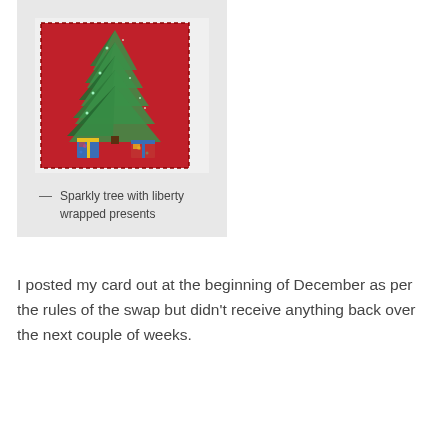[Figure (photo): A handmade Christmas card featuring a sparkly green metallic tree on a red fabric background with liberty-print wrapped presents at the base.]
— Sparkly tree with liberty wrapped presents
I posted my card out at the beginning of December as per the rules of the swap but didn't receive anything back over the next couple of weeks.